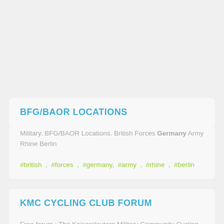BFG/BAOR LOCATIONS
Military. BFG/BAOR Locations. British Forces Germany Army Rhine Berlin
#british , #forces , #germany, #army , #rhine , #berlin
KMC CYCLING CLUB FORUM
Free forum : The Kaiserslautern Military Community Cycling Club is is a diverse group of people from across the Kaiserslautern Military Community (KMC) who...